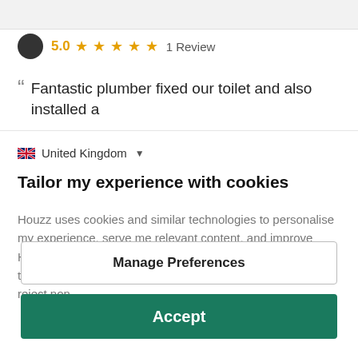5.0 ★★★★★ 1 Review
" Fantastic plumber fixed our toilet and also installed a
🇬🇧 United Kingdom ▾
Tailor my experience with cookies
Houzz uses cookies and similar technologies to personalise my experience, serve me relevant content, and improve Houzz products and services. By clicking 'Accept' I agree to this, as further described in the Houzz Cookie Policy. I can reject non-
Manage Preferences
Accept